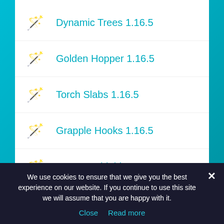Dynamic Trees 1.16.5
Golden Hopper 1.16.5
Torch Slabs 1.16.5
Grapple Hooks 1.16.5
Spartan Shield 1.16.5
Apotheosis 1.16.5
Spartan Weaponry 1.16.5
Twilight Forest 1.16.5
Better Animals Plus 1.16.5
We use cookies to ensure that we give you the best experience on our website. If you continue to use this site we will assume that you are happy with it. Close  Read more